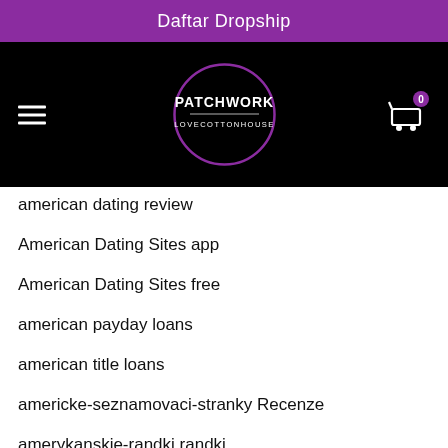Daftar Dropship
[Figure (logo): PATCHWORK LOVECOTTONHOUSE logo in a circle on black navigation bar with hamburger menu and cart icon showing 0 items]
american dating review
American Dating Sites app
American Dating Sites free
american payday loans
american title loans
americke-seznamovaci-stranky Recenze
amerykanskie-randki randki
Amino es gratis?